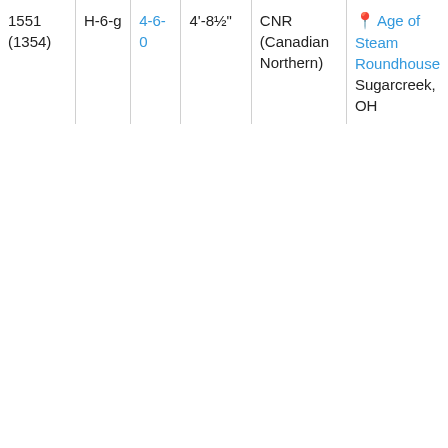| Number | Class | Wheel arrangement | Gauge | Railroad | Location |
| --- | --- | --- | --- | --- | --- |
| 1551
(1354) | H-6-g | 4-6-0 | 4'-8½" | CNR (Canadian Northern) | 📍 Age of Steam Roundhouse
Sugarcreek, OH |